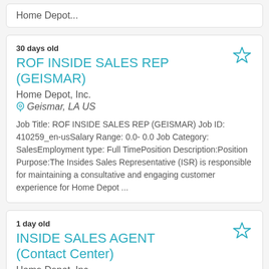Home Depot...
30 days old
ROF INSIDE SALES REP (GEISMAR)
Home Depot, Inc.
Geismar, LA US
Job Title: ROF INSIDE SALES REP (GEISMAR) Job ID: 410259_en-usSalary Range: 0.0- 0.0 Job Category: SalesEmployment type: Full TimePosition Description:Position Purpose:The Insides Sales Representative (ISR) is responsible for maintaining a consultative and engaging customer experience for Home Depot ...
1 day old
INSIDE SALES AGENT (Contact Center)
Home Depot, Inc.